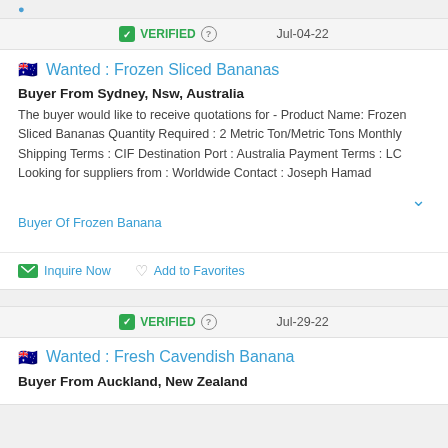VERIFIED  Jul-04-22
Wanted : Frozen Sliced Bananas
Buyer From Sydney, Nsw, Australia
The buyer would like to receive quotations for - Product Name: Frozen Sliced Bananas Quantity Required : 2 Metric Ton/Metric Tons Monthly Shipping Terms : CIF Destination Port : Australia Payment Terms : LC Looking for suppliers from : Worldwide Contact : Joseph Hamad
Buyer Of Frozen Banana
Inquire Now   Add to Favorites
VERIFIED  Jul-29-22
Wanted : Fresh Cavendish Banana
Buyer From Auckland, New Zealand